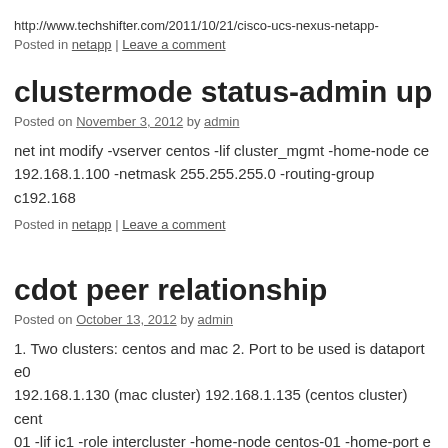http://www.techshifter.com/2011/10/21/cisco-ucs-nexus-netapp-
Posted in netapp | Leave a comment
clustermode status-admin up
Posted on November 3, 2012 by admin
net int modify -vserver centos -lif cluster_mgmt -home-node ce 192.168.1.100 -netmask 255.255.255.0 -routing-group c192.168
Posted in netapp | Leave a comment
cdot peer relationship
Posted on October 13, 2012 by admin
1. Two clusters: centos and mac 2. Port to be used is dataport e0 192.168.1.130 (mac cluster) 192.168.1.135 (centos cluster) cent 01 -lif ic1 -role intercluster -home-node centos-01 -home-port e